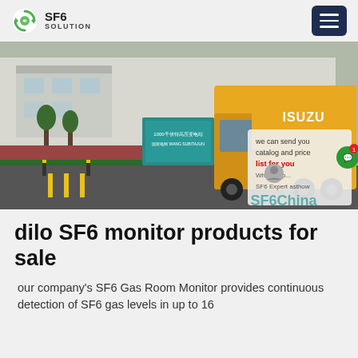SF6 SOLUTION
[Figure (photo): A yellow ISUZU truck in front of an industrial building with Chinese signage. A chat overlay shows text: 'We can send you catalog and price list for you' and 'SF6China' watermark with a chat widget.]
dilo SF6 monitor products for sale
our company's SF6 Gas Room Monitor provides continuous detection of SF6 gas levels in up to 16